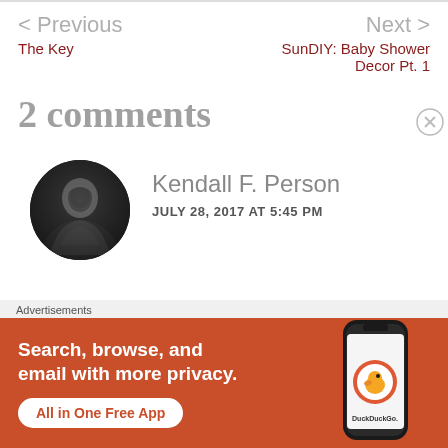< Previous
The Key
Next >
SunDIY: Baby Shower Decor Pt. 1
2 comments
[Figure (photo): Circular avatar photo of Kendall F. Person, grayscale silhouette of a person]
Kendall F. Person
JULY 28, 2017 AT 5:45 PM
Advertisements
[Figure (infographic): DuckDuckGo advertisement banner: orange background, text 'Search, browse, and email with more privacy. All in One Free App', with a phone image and DuckDuckGo logo]